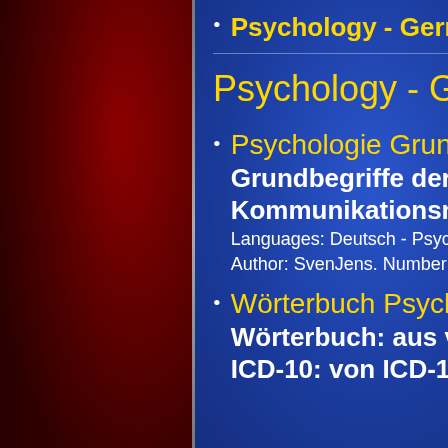Psychology - German (2 f…
Psychology - German
Psychologie Grundbegriffe… Grundbegriffe der Kommu… Kommunikationsmodelle. Languages: Deutsch - Psycholo… Author: SvenJens. Number of w…
Wörterbuch Psychologie u… Wörterbuch: aus versch. W… ICD-10: von ICD-10 online…